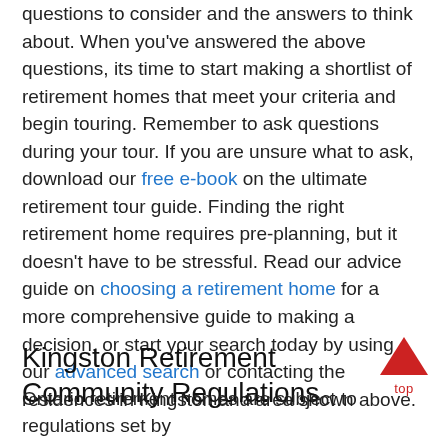questions to consider and the answers to think about. When you've answered the above questions, its time to start making a shortlist of retirement homes that meet your criteria and begin touring. Remember to ask questions during your tour. If you are unsure what to ask, download our free e-book on the ultimate retirement tour guide. Finding the right retirement home requires pre-planning, but it doesn't have to be stressful. Read our advice guide on choosing a retirement home for a more comprehensive guide to making a decision, or start your search today by using our advanced search or contacting the residences in Kingston and area shown above.
Kingston Retirement Community Regulations
Ontario retirement homes are subject to regulations set by